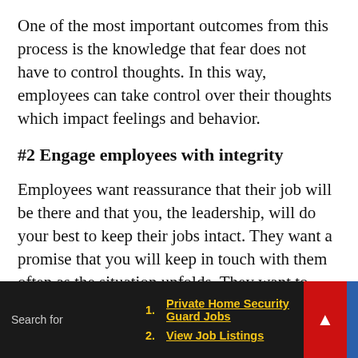One of the most important outcomes from this process is the knowledge that fear does not have to control thoughts. In this way, employees can take control over their thoughts which impact feelings and behavior.
#2 Engage employees with integrity
Employees want reassurance that their job will be there and that you, the leadership, will do your best to keep their jobs intact. They want a promise that you will keep in touch with them often as the situation unfolds. They want to know that if you have to deliver the worst-case scenario, you do it transparently while providing helpful support,
Search for 1. Private Home Security Guard Jobs 2. View Job Listings